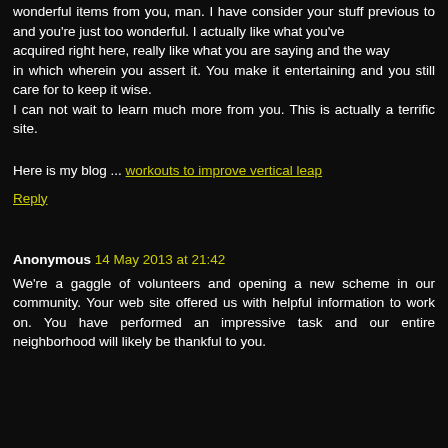wonderful items from you, man. I have consider your stuff previous to and you're just too wonderful. I actually like what you've acquired right here, really like what you are saying and the way in which wherein you assert it. You make it entertaining and you still care for to keep it wise. I can not wait to learn much more from you. This is actually a terrific site.
Here is my blog ... workouts to improve vertical leap
Reply
Anonymous 14 May 2013 at 21:42
We're a gaggle of volunteers and opening a new scheme in our community. Your web site offered us with helpful information to work on. You have performed an impressive task and our entire neighborhood will likely be thankful to you.